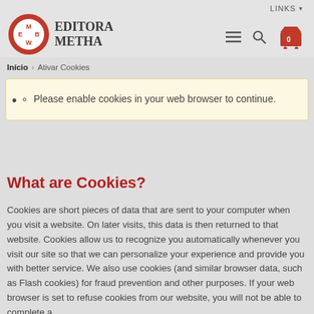LINKS
[Figure (logo): Editora Metha logo: red circular emblem with stylized M/E/B/W letters and text EDITORA METHA]
[Figure (infographic): Navigation icons: hamburger menu, search magnifier, shopping cart with 0]
Início > Ativar Cookies
Please enable cookies in your web browser to continue.
What are Cookies?
Cookies are short pieces of data that are sent to your computer when you visit a website. On later visits, this data is then returned to that website. Cookies allow us to recognize you automatically whenever you visit our site so that we can personalize your experience and provide you with better service. We also use cookies (and similar browser data, such as Flash cookies) for fraud prevention and other purposes. If your web browser is set to refuse cookies from our website, you will not be able to complete a